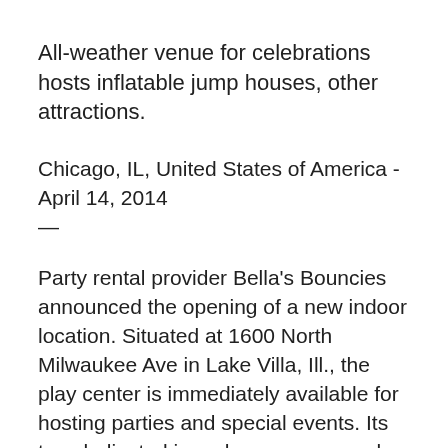All-weather venue for celebrations hosts inflatable jump houses, other attractions.
Chicago, IL, United States of America - April 14, 2014 —
Party rental provider Bella's Bouncies announced the opening of a new indoor location. Situated at 1600 North Milwaukee Ave in Lake Villa, Ill., the play center is immediately available for hosting parties and special events. Its two dedicated jump house areas and like number of party rooms make it the perfect place for birthday parties, graduation celebrations and other gatherings. A wide selection